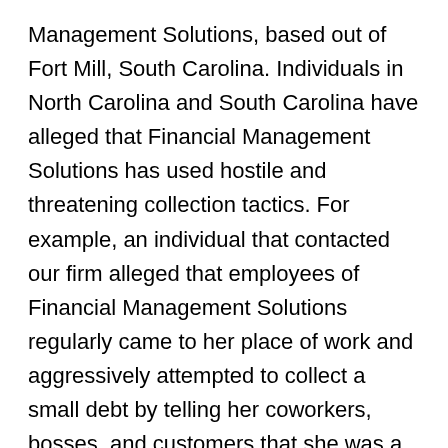Management Solutions, based out of Fort Mill, South Carolina. Individuals in North Carolina and South Carolina have alleged that Financial Management Solutions has used hostile and threatening collection tactics. For example, an individual that contacted our firm alleged that employees of Financial Management Solutions regularly came to her place of work and aggressively attempted to collect a small debt by telling her coworkers, bosses, and customers that she was a “deadbeat” that owed money.
Under the FDCPA and NCCAA, debt collectors like Barron, Gibson & Phillips LLC cannot